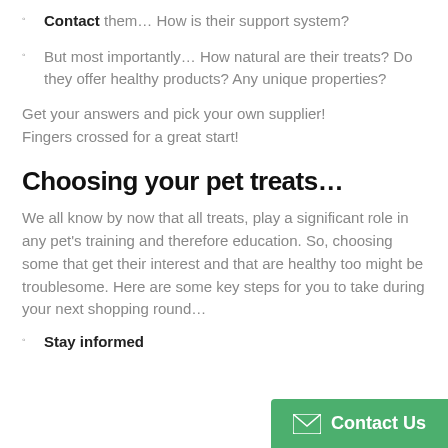Contact them… How is their support system?
But most importantly… How natural are their treats? Do they offer healthy products? Any unique properties?
Get your answers and pick your own supplier! Fingers crossed for a great start!
Choosing your pet treats…
We all know by now that all treats, play a significant role in any pet's training and therefore education. So, choosing some that get their interest and that are healthy too might be troublesome. Here are some key steps for you to take during your next shopping round…
Stay informed